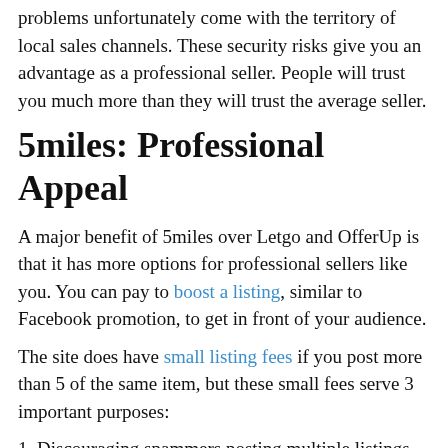problems unfortunately come with the territory of local sales channels. These security risks give you an advantage as a professional seller. People will trust you much more than they will trust the average seller.
5miles: Professional Appeal
A major benefit of 5miles over Letgo and OfferUp is that it has more options for professional sellers like you. You can pay to boost a listing, similar to Facebook promotion, to get in front of your audience.
The site does have small listing fees if you post more than 5 of the same item, but these small fees serve 3 important purposes:
1. Discouraging spammers posting multiple listings of the exact same item to gain more exposure
2. Encouraging serious buyers and serious sellers to use the platform
3. Differentiating 5miles from OfferUp, Letgo and Craigslist by blending elements of larger e-commerce